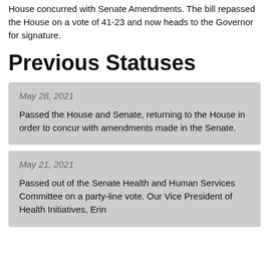House concurred with Senate Amendments. The bill repassed the House on a vote of 41-23 and now heads to the Governor for signature.
Previous Statuses
May 28, 2021

Passed the House and Senate, returning to the House in order to concur with amendments made in the Senate.
May 21, 2021

Passed out of the Senate Health and Human Services Committee on a party-line vote. Our Vice President of Health Initiatives, Erin